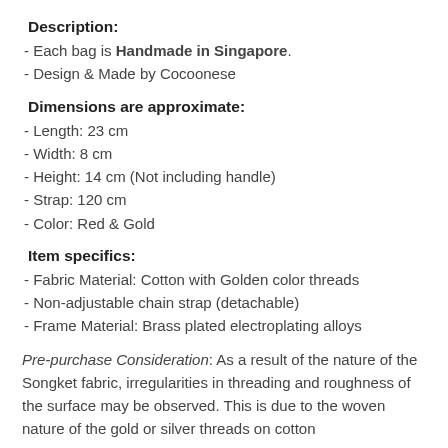Description:
- Each bag is Handmade in Singapore.
- Design & Made by Cocoonese
Dimensions are approximate:
- Length: 23 cm
- Width:  8 cm
- Height: 14 cm (Not including handle)
- Strap: 120 cm
- Color: Red & Gold
Item specifics:
- Fabric Material: Cotton with Golden color threads
- Non-adjustable chain strap (detachable)
- Frame Material: Brass plated electroplating alloys
Pre-purchase Consideration: As a result of the nature of the Songket fabric, irregularities in threading and roughness of the surface may be observed. This is due to the woven nature of the gold or silver threads on cotton